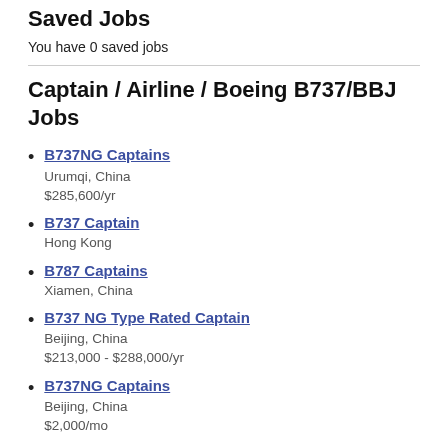Saved Jobs
You have 0 saved jobs
Captain / Airline / Boeing B737/BBJ Jobs
B737NG Captains
Urumqi, China
$285,600/yr
B737 Captain
Hong Kong
B787 Captains
Xiamen, China
B737 NG Type Rated Captain
Beijing, China
$213,000 - $288,000/yr
B737NG Captains
Beijing, China
$2,000/mo